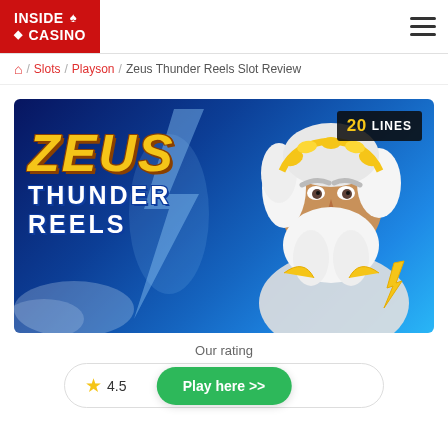INSIDE CASINO
Home / Slots / Playson / Zeus Thunder Reels Slot Review
[Figure (illustration): Zeus Thunder Reels slot game promotional banner showing Zeus character with white beard and golden laurel wreath, lightning bolt background, golden ZEUS text logo, THUNDER REELS subtitle, and '20 LINES' badge in top right corner]
Our rating
Play here >> ★ 4.5